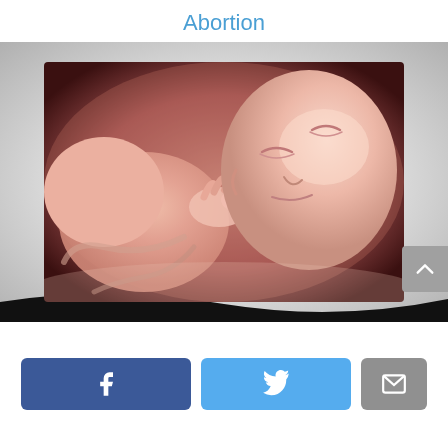Abortion
[Figure (illustration): Close-up illustration or 3D rendering of a fetus in the womb, showing a developed baby with visible facial features including closed eyes, nose, and hands near the face. Warm pinkish skin tones against a soft background.]
[Figure (other): Social share buttons row: Facebook (blue), Twitter (light blue), Email (gray)]